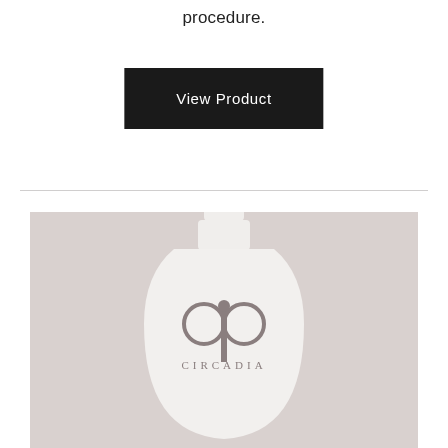procedure.
View Product
[Figure (photo): A white Circadia brand skincare bottle with circular logo and brand name on a taupe/beige background, partially cropped at bottom]